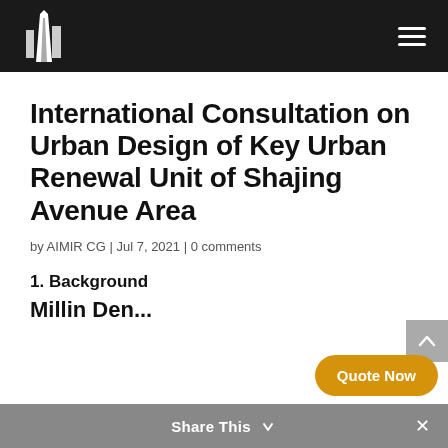AIMIR CG — navigation header with logo and menu
International Consultation on Urban Design of Key Urban Renewal Unit of Shajing Avenue Area
by AIMIR CG | Jul 7, 2021 | 0 comments
1. Background